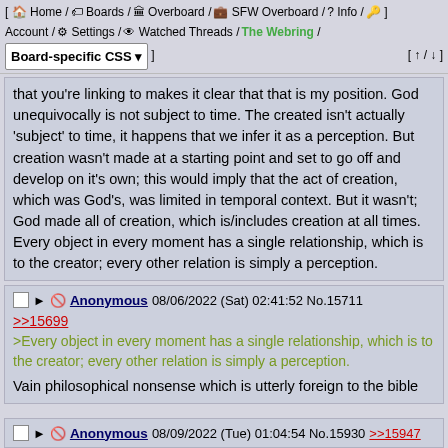[ Home / Boards / Overboard / SFW Overboard / Info / key ] Account / Settings / Watched Threads / The Webring / Board-specific CSS ▾ ] [ ↑ / ↓ ]
that you're linking to makes it clear that that is my position. God unequivocally is not subject to time. The created isn't actually 'subject' to time, it happens that we infer it as a perception. But creation wasn't made at a starting point and set to go off and develop on it's own; this would imply that the act of creation, which was God's, was limited in temporal context. But it wasn't; God made all of creation, which is/includes creation at all times. Every object in every moment has a single relationship, which is to the creator; every other relation is simply a perception.
Anonymous 08/06/2022 (Sat) 02:41:52 No.15711
>>15699
>Every object in every moment has a single relationship, which is to the creator; every other relation is simply a perception.
Vain philosophical nonsense which is utterly foreign to the bible
Anonymous 08/09/2022 (Tue) 01:04:54 No.15930 >>15947